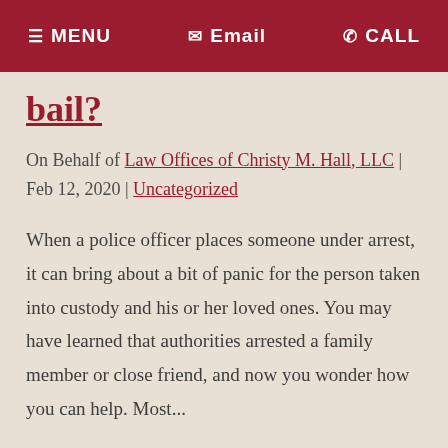MENU  Email  CALL
bail?
On Behalf of Law Offices of Christy M. Hall, LLC | Feb 12, 2020 | Uncategorized
When a police officer places someone under arrest, it can bring about a bit of panic for the person taken into custody and his or her loved ones. You may have learned that authorities arrested a family member or close friend, and now you wonder how you can help. Most...